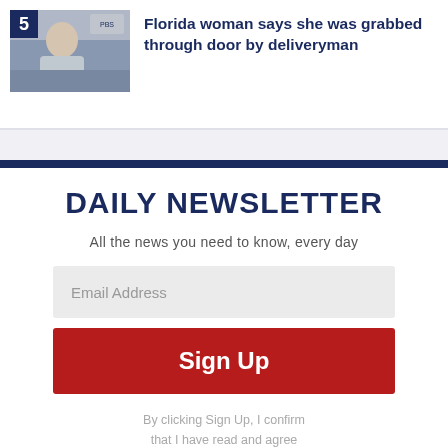[Figure (photo): Thumbnail photo of a woman sitting indoors, appears to be a news video screenshot. Number badge '5' in dark navy square overlay at top-left.]
Florida woman says she was grabbed through door by deliveryman
DAILY NEWSLETTER
All the news you need to know, every day
Email Address
Sign Up
By clicking Sign Up, I confirm that I have read and agree to the Privacy Policy